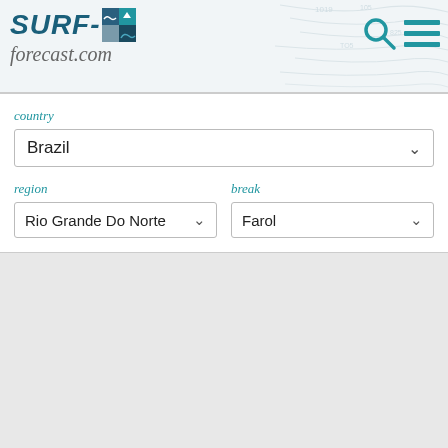[Figure (screenshot): Surf-forecast.com website header with logo, search icon, and menu icon over a topographic map background]
country
Brazil
region
Rio Grande Do Norte
break
Farol